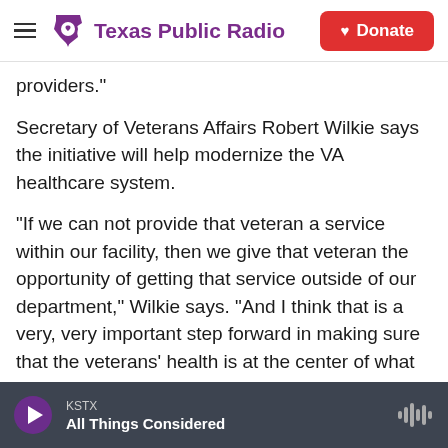Texas Public Radio | Donate
providers."
Secretary of Veterans Affairs Robert Wilkie says the initiative will help modernize the VA healthcare system.
"If we can not provide that veteran a service within our facility, then we give that veteran the opportunity of getting that service outside of our department," Wilkie says. "And I think that is a very, very important step forward in making sure that the veterans' health is at the center of what we do."
The act also expands access to urgent care for
KSTX
All Things Considered